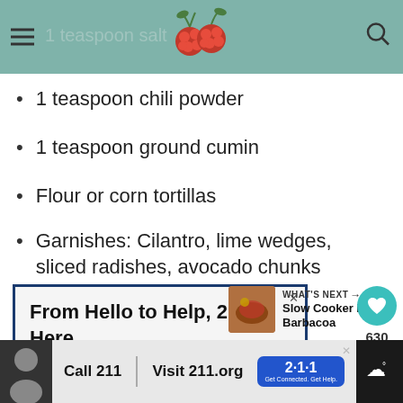1 teaspoon salt
1 teaspoon chili powder
1 teaspoon ground cumin
Flour or corn tortillas
Garnishes: Cilantro, lime wedges, sliced radishes, avocado chunks
[Figure (screenshot): Inline advertisement banner: 'From Hello to Help, 211 is Here' with dark blue border]
[Figure (infographic): What's Next panel with Slow Cooker Beef Barbacoa thumbnail]
[Figure (screenshot): Bottom advertisement bar: Call 211, Visit 211.org with 2-1-1 badge logo]